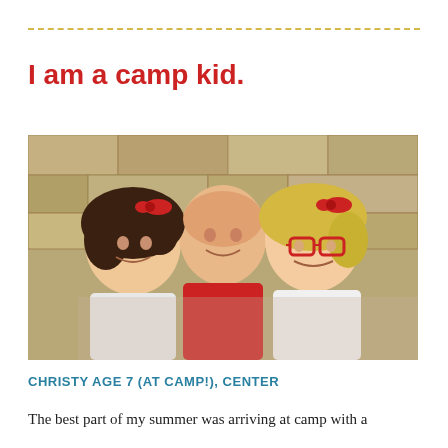I am a camp kid.
[Figure (photo): Black and white / color vintage photograph of three young girls smiling together in front of a stone wall. The girl on the left has dark curly hair with a red bow, the girl in the center wears a red shirt, and the girl on the right is blonde and wears red-framed glasses and a white shirt.]
CHRISTY AGE 7 (AT CAMP!), CENTER
The best part of my summer was arriving at camp with a